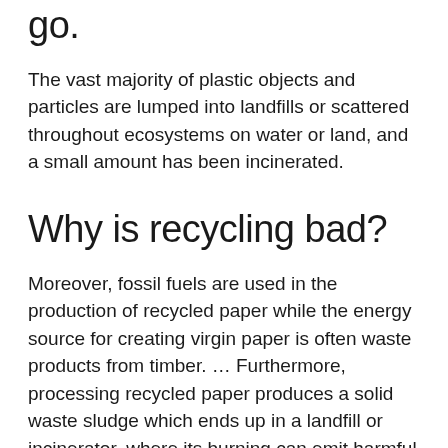go.
The vast majority of plastic objects and particles are lumped into landfills or scattered throughout ecosystems on water or land, and a small amount has been incinerated.
Why is recycling bad?
Moreover, fossil fuels are used in the production of recycled paper while the energy source for creating virgin paper is often waste products from timber. … Furthermore, processing recycled paper produces a solid waste sludge which ends up in a landfill or incinerator, where its burning can emit harmful byproducts.